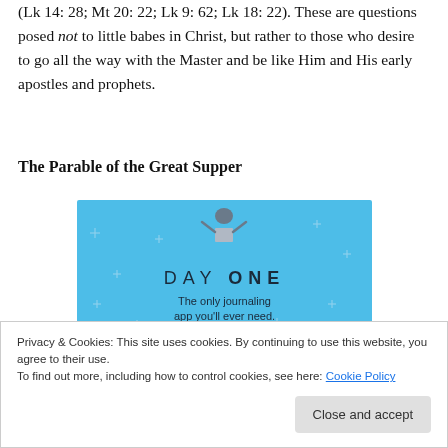(Lk 14: 28; Mt 20: 22; Lk 9: 62; Lk 18: 22). These are questions posed not to little babes in Christ, but rather to those who desire to go all the way with the Master and be like Him and His early apostles and prophets.
The Parable of the Great Supper
[Figure (illustration): Advertisement for Day One journaling app. Blue background with decorative star/sparkle pattern, figure at top holding a box, large text 'DAY ONE' with wide letter spacing, subtitle 'The only journaling app you'll ever need.']
Privacy & Cookies: This site uses cookies. By continuing to use this website, you agree to their use.
To find out more, including how to control cookies, see here: Cookie Policy